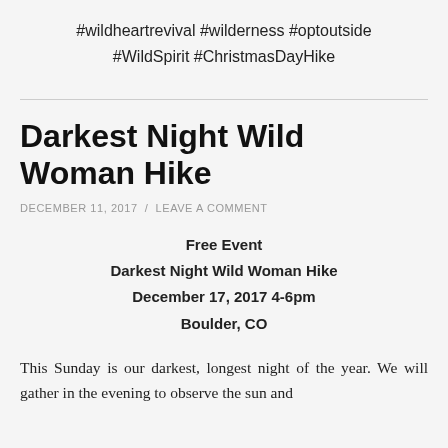#wildheartrevival #wilderness #optoutside #WildSpirit #ChristmasDayHike
Darkest Night Wild Woman Hike
DECEMBER 11, 2017 / LEAVE A COMMENT
Free Event
Darkest Night Wild Woman Hike
December 17, 2017 4-6pm
Boulder, CO
This Sunday is our darkest, longest night of the year. We will gather in the evening to observe the sun and